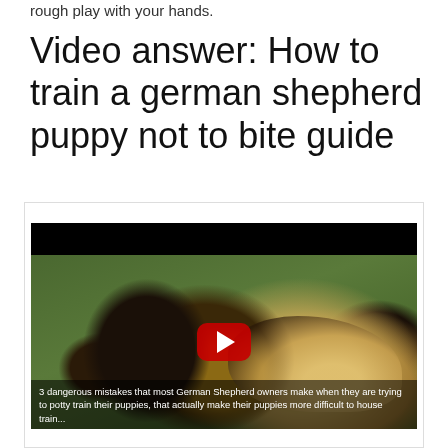rough play with your hands.
Video answer: How to train a german shepherd puppy not to bite guide
[Figure (screenshot): Embedded video player showing a German Shepherd dog with mouth open, with a red YouTube play button overlay. Subtitle text reads: '3 dangerous mistakes that most German Shepherd owners make when they are trying to potty train their puppies, that actually make their puppies more difficult to house train...']